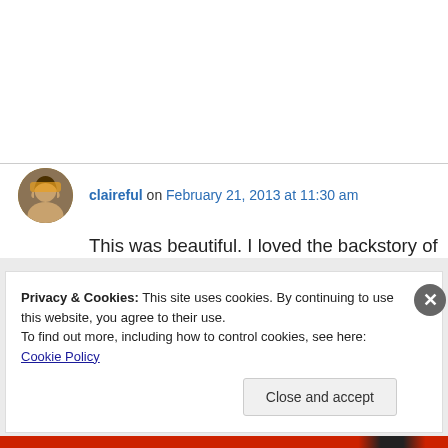claireful on February 21, 2013 at 11:30 am
This was beautiful. I loved the backstory of the father and mother – very visual.
↳ Reply
Privacy & Cookies: This site uses cookies. By continuing to use this website, you agree to their use.
To find out more, including how to control cookies, see here: Cookie Policy
Close and accept